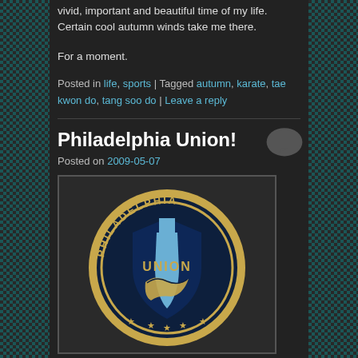vivid, important and beautiful time of my life. Certain cool autumn winds take me there.
For a moment.
Posted in life, sports | Tagged autumn, karate, tae kwon do, tang soo do | Leave a reply
Philadelphia Union!
Posted on 2009-05-07
[Figure (logo): Philadelphia Union soccer club crest/logo — circular badge with dark navy blue shield, golden serpent, text PHILADELPHIA arcing on top, UNION in the center, blue and gold color scheme, stars at bottom]